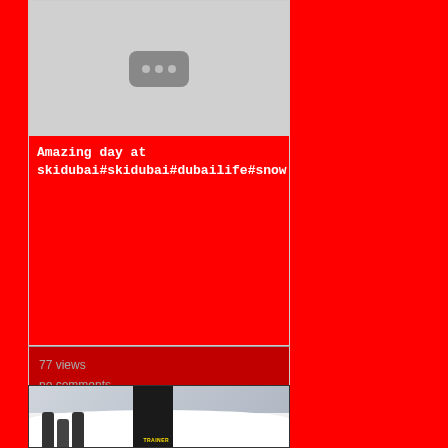[Figure (screenshot): Video thumbnail placeholder — grey background with a dark rounded rectangle icon with three dots, resembling a video player loading icon]
Amazing day at skidubai#skidubai#dubailife#snow
77 views
no comments
[Figure (photo): Snow scene at Ski Dubai — a person in dark winter gear with a yellow logo on their back facing away, with other figures visible in the background on a snowy slope]